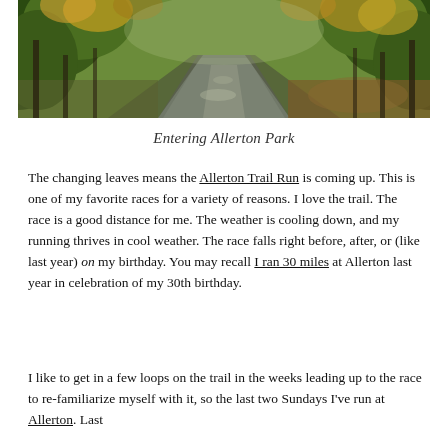[Figure (photo): A tree-lined road leading into Allerton Park, photographed in autumn with colorful foliage on both sides and dappled light.]
Entering Allerton Park
The changing leaves means the Allerton Trail Run is coming up. This is one of my favorite races for a variety of reasons. I love the trail. The race is a good distance for me. The weather is cooling down, and my running thrives in cool weather. The race falls right before, after, or (like last year) on my birthday. You may recall I ran 30 miles at Allerton last year in celebration of my 30th birthday.
I like to get in a few loops on the trail in the weeks leading up to the race to re-familiarize myself with it, so the last two Sundays I've run at Allerton. Last